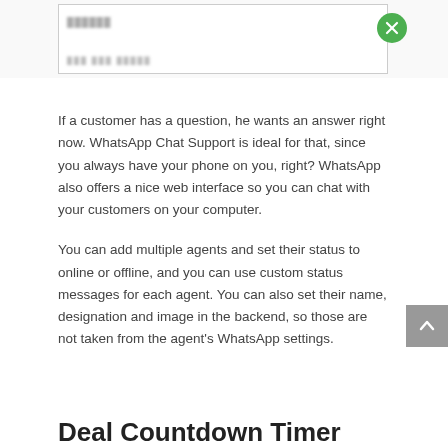[Figure (screenshot): Partial screenshot of a WhatsApp Chat Support interface with a green X/close button in the top right corner. The interface shows blurred/placeholder text content.]
If a customer has a question, he wants an answer right now. WhatsApp Chat Support is ideal for that, since you always have your phone on you, right? WhatsApp also offers a nice web interface so you can chat with your customers on your computer.
You can add multiple agents and set their status to online or offline, and you can use custom status messages for each agent. You can also set their name, designation and image in the backend, so those are not taken from the agent's WhatsApp settings.
Deal Countdown Timer